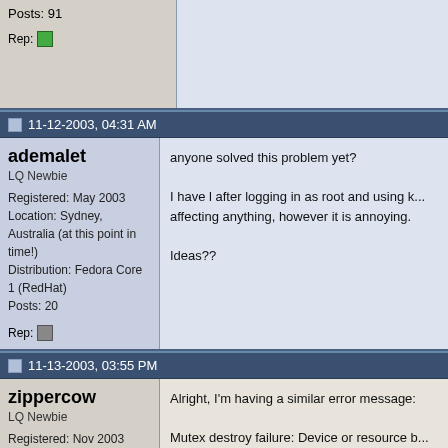Posts: 91
Rep: [green icon]
11-12-2003, 04:31 AM
ademalet
LQ Newbie
Registered: May 2003
Location: Sydney, Australia (at this point in time!)
Distribution: Fedora Core 1 (RedHat)
Posts: 20
Rep:
anyone solved this problem yet?

I have it after logging in as root and using k... affecting anything, however it is annoying.

Ideas??
11-13-2003, 03:55 PM
zippercow
LQ Newbie
Registered: Nov 2003
Location: inside
Distribution: PCLinuxOS .93a, SUSE 10.1, Mandriva 2007
Posts: 23
Rep:
Alright, I'm having a similar error message:

Mutex destroy failure: Device or resource b...

It only seems to happen to me when exiting... other than a mild annoyance as of yet, but... it. If it helps at all, I'm using a fairly clean in... happen.